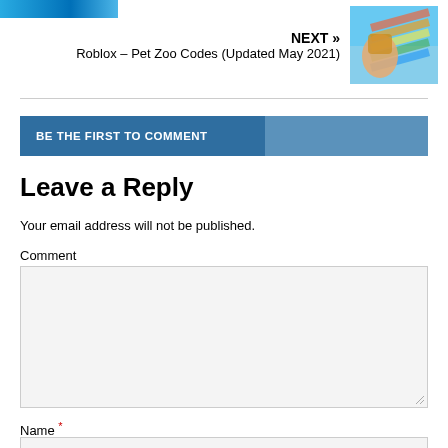[Figure (screenshot): Blue logo strip at top left]
NEXT »
Roblox – Pet Zoo Codes (Updated May 2021)
[Figure (photo): Colorful Roblox game thumbnail showing a character with rainbow colors]
BE THE FIRST TO COMMENT
Leave a Reply
Your email address will not be published.
Comment
Name *